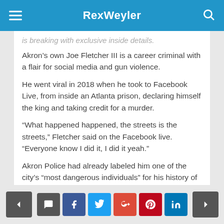RexWeyler
is breaking with exclusive inside details.
Akron’s own Joe Fletcher III is a career criminal with a flair for social media and gun violence.
He went viral in 2018 when he took to Facebook Live, from inside an Atlanta prison, declaring himself the king and taking credit for a murder.
“What happened happened, the streets is the streets,” Fletcher said on the Facebook live. “Everyone know I did it, I did it yeah.”
Akron Police had already labeled him one of the city’s “most dangerous individuals” for his history of drug trafficking and gun possession.
< [comment] [f] [twitter] [g+] [pinterest] [in] >